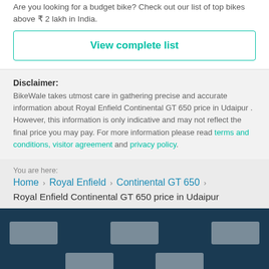Are you looking for a budget bike? Check out our list of top bikes above ₹ 2 lakh in India.
View complete list
Disclaimer: BikeWale takes utmost care in gathering precise and accurate information about Royal Enfield Continental GT 650 price in Udaipur . However, this information is only indicative and may not reflect the final price you may pay. For more information please read terms and conditions, visitor agreement and privacy policy.
You are here:
Home › Royal Enfield › Continental GT 650 ›
Royal Enfield Continental GT 650 price in Udaipur
[Figure (other): Footer section with dark navy background containing 5 grey placeholder logo/image boxes arranged in two rows]